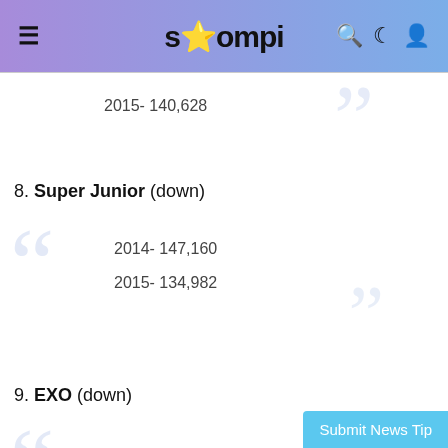soompi
2015- 140,628
8. Super Junior (down)
2014- 147,160
2015- 134,982
9. EXO (down)